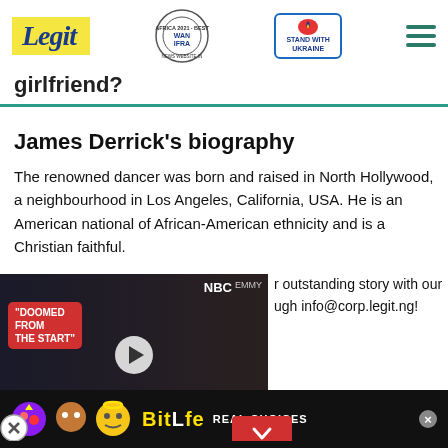[Figure (screenshot): Legit.ng website header with Legit logo in yellow, WAN-IFRA 2021 Best News Website in Africa badge, Stand with Ukraine button, and hamburger menu]
girlfriend?
James Derrick's biography
The renowned dancer was born and raised in North Hollywood, a neighbourhood in Los Angeles, California, USA. He is an American national of African-American ethnicity and is a Christian faithful.
[Figure (screenshot): Video player with doomed from the start text overlay, NBC logo, play button, two people visible]
r outstanding story with our ugh info@corp.legit.ng!
[Figure (screenshot): BitLife Real Choices advertisement banner with emoji characters]